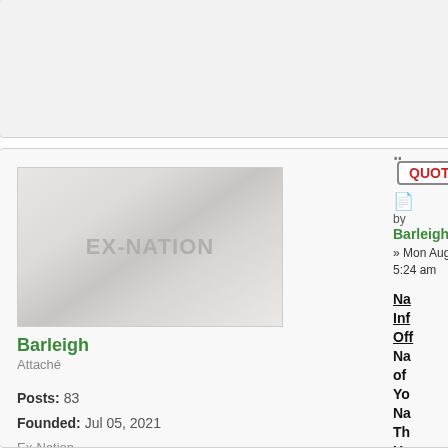[Figure (screenshot): Forum post screenshot showing a user profile with EX-NATION avatar image, username Barleigh, rank Attaché, post count 83, founded Jul 05, 2021, Ex-Nation. Right side shows a QUOTE button, post icon, author link to Barleigh, date Mon Aug 09, 2021 5:24 am, and truncated post content starting with Na, Inf, Off, Na, of, Yo, Na, Th, Un, Kin, of, Ba, Yo]